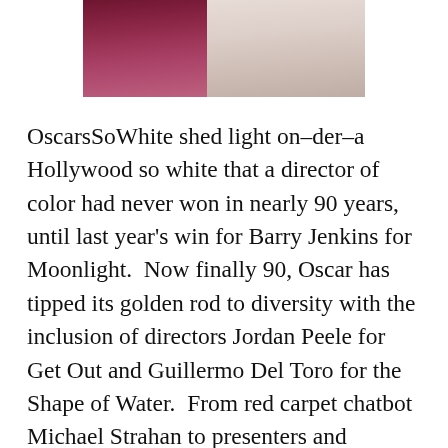[Figure (photo): Partial photo showing two people in formal attire — one in a dark red/burgundy dress on the left, and one in a light/cream colored dress on the right, cropped at the top of the page.]
OscarsSoWhite shed light on–der–a Hollywood so white that a director of color had never won in nearly 90 years, until last year's win for Barry Jenkins for Moonlight.  Now finally 90, Oscar has tipped its golden rod to diversity with the inclusion of directors Jordan Peele for Get Out and Guillermo Del Toro for the Shape of Water.  From red carpet chatbot Michael Strahan to presenters and luminaries, there is a lot more color at the Oscars than there used to be.  Sure rumors persist that older Oscar voters refused to even watch Get Out, never mind vote for it.  Sure the Oscars continue to be mostly white, even amidst